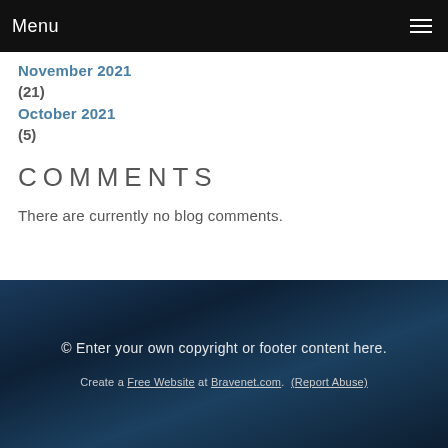Menu
November 2021 (21)
October 2021 (5)
COMMENTS
There are currently no blog comments.
© Enter your own copyright or footer content here.
Create a Free Website at Bravenet.com. (Report Abuse)